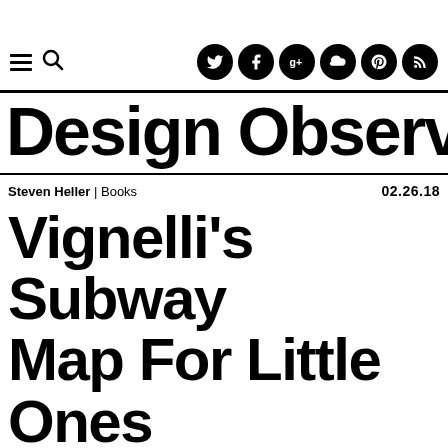Design Observer — navigation bar with hamburger menu, search icon, and social media icons (Twitter, Facebook, Google+, SoundCloud, Pinterest, RSS)
Design Observer
Steven Heller | Books    02.26.18
Vignelli's Subway Map For Little Ones